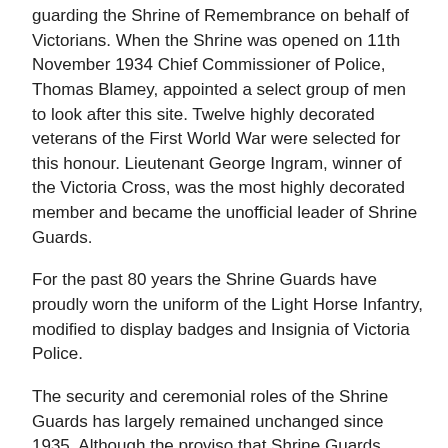guarding the Shrine of Remembrance on behalf of Victorians. When the Shrine was opened on 11th November 1934 Chief Commissioner of Police, Thomas Blamey, appointed a select group of men to look after this site. Twelve highly decorated veterans of the First World War were selected for this honour. Lieutenant George Ingram, winner of the Victoria Cross, was the most highly decorated member and became the unofficial leader of Shrine Guards.
For the past 80 years the Shrine Guards have proudly worn the uniform of the Light Horse Infantry, modified to display badges and Insignia of Victoria Police.
The security and ceremonial roles of the Shrine Guards has largely remained unchanged since 1935. Although the proviso that Shrine Guards should be recruited from those who have seen active service was removed in 1970, they remain a highly trained and skilled team who are committed to their duties.
Today recruitment of Shrine Guards are men and women drawn from Victoria Police Protective Services Unit, trained in military drill to complement their skills and equipment for their dual role.